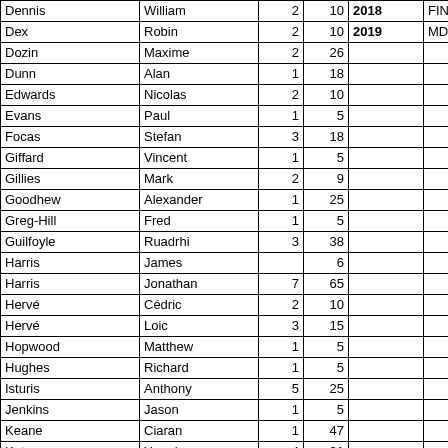| Last Name | First Name | Col3 | Col4 | Year | Abbrev |
| --- | --- | --- | --- | --- | --- |
| Dennis | William | 2 | 10 | 2018 | FIN, ... |
| Dex | Robin | 2 | 10 | 2019 | MDA |
| Dozin | Maxime | 2 | 26 |  |  |
| Dunn | Alan | 1 | 18 |  |  |
| Edwards | Nicolas | 2 | 10 |  |  |
| Evans | Paul | 1 | 5 |  |  |
| Focas | Stefan | 3 | 18 |  |  |
| Giffard | Vincent | 1 | 5 |  |  |
| Gillies | Mark | 2 | 9 |  |  |
| Goodhew | Alexander | 1 | 25 |  |  |
| Greg-Hill | Fred | 1 | 5 |  |  |
| Guilfoyle | Ruadrhi | 3 | 38 |  |  |
| Harris | James |  | 6 |  |  |
| Harris | Jonathan | 7 | 65 |  |  |
| Hervé | Cédric | 2 | 10 |  |  |
| Hervé | Loic | 3 | 15 |  |  |
| Hopwood | Matthew | 1 | 5 |  |  |
| Hughes | Richard | 1 | 5 |  |  |
| Isturis | Anthony | 5 | 25 |  |  |
| Jenkins | Jason | 1 | 5 |  |  |
| Keane | Ciaran | 1 | 47 |  |  |
| Ketema | Yared | 4 | 31 |  |  |
| Kimmel | Guillaume | 2 | 10 |  |  |
| Kimmel | Romain | 1 | 5 |  |  |
| Knowles | Stephen | 11 | 65 |  |  |
| Kombia | Kevin | 1 | 5 |  |  |